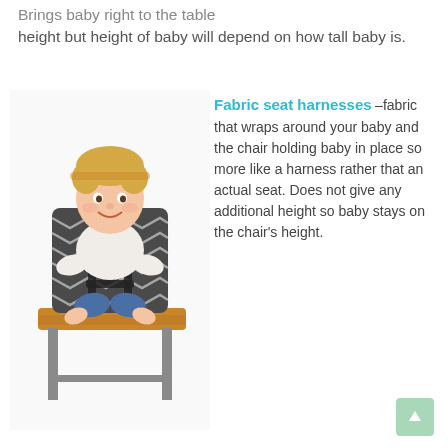Brings baby right to the table height but height of baby will depend on how tall baby is.
[Figure (photo): A toddler sitting in a fabric seat harness strapped to a wooden stool, smiling at the camera. The harness has a chevron/zigzag pattern in grey and white.]
Fabric seat harnesses –fabric that wraps around your baby and the chair holding baby in place so more like a harness rather that an actual seat. Does not give any additional height so baby stays on the chair's height.